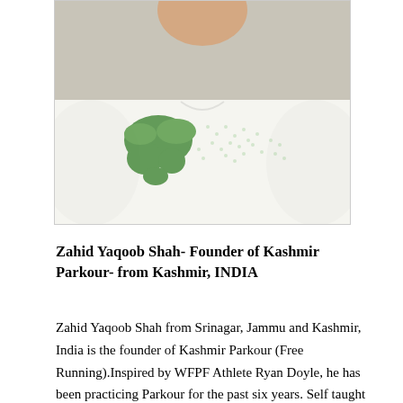[Figure (photo): Photo of Zahid Yaqoob Shah, a man wearing a white t-shirt with a green world map graphic design, cropped to show chest and lower face only]
Zahid Yaqoob Shah- Founder of Kashmir Parkour- from Kashmir, INDIA
Zahid Yaqoob Shah from Srinagar, Jammu and Kashmir, India is the founder of Kashmir Parkour (Free Running).Inspired by WFPF Athlete Ryan Doyle, he has been practicing Parkour for the past six years. Self taught from YouTube. He has started practicing Parkour alone, but with time other Kashmiri guys joined him and it gave birth to Kashmir Freerunning and Parkour family. He is currently creating awareness in Kashmir about Parkour and is training youth basics of Parkour. He has